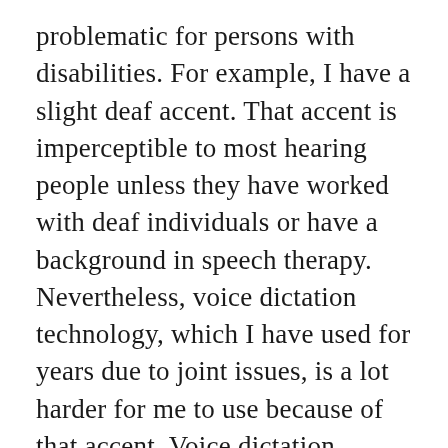problematic for persons with disabilities. For example, I have a slight deaf accent. That accent is imperceptible to most hearing people unless they have worked with deaf individuals or have a background in speech therapy. Nevertheless, voice dictation technology, which I have used for years due to joint issues, is a lot harder for me to use because of that accent. Voice dictation simply takes a lot longer to get used to my accent than it does for hearing people. Also, keep in mind that many disabilities have speech impediment that are associated with it. Finally, a culturally